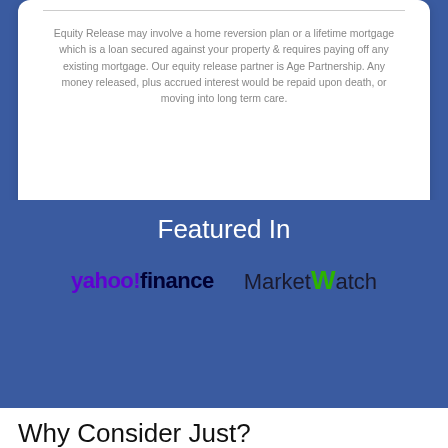Equity Release may involve a home reversion plan or a lifetime mortgage which is a loan secured against your property & requires paying off any existing mortgage. Our equity release partner is Age Partnership. Any money released, plus accrued interest would be repaid upon death, or moving into long term care.
Featured In
[Figure (logo): Yahoo Finance and MarketWatch logos side by side on a blue background]
Why Consider Just?
Just has achieved a 2 Star 'Outstanding' accreditation from Best Companies1.